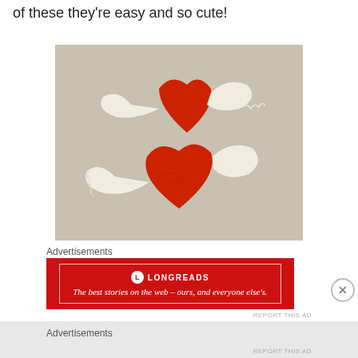of these they’re easy and so cute!
[Figure (photo): Two red heart-shaped cookies decorated with white fondant wings on a light background.]
Advertisements
[Figure (other): Longreads advertisement banner: red background with white border, Longreads logo and text 'The best stories on the web – ours, and everyone else’s.']
REPORT THIS AD
Advertisements
REPORT THIS AD